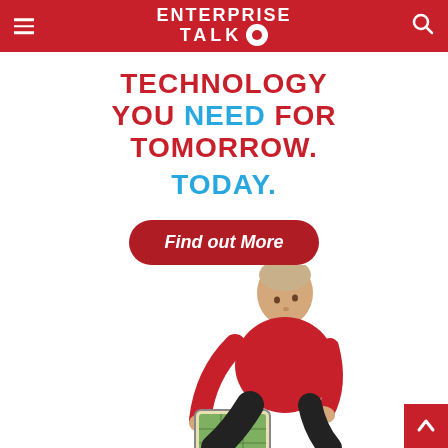ENTERPRISE TALK
TECHNOLOGY YOU NEED FOR TOMORROW. TODAY.
[Figure (other): Red rounded button with white italic text 'Find out More']
[Figure (photo): A young man in a red polo shirt crouching and looking at a tablet device he is holding]
[Figure (other): Red square back-to-top button with white upward chevron arrow in bottom right corner]